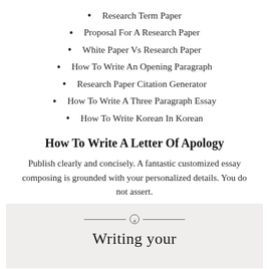Research Term Paper
Proposal For A Research Paper
White Paper Vs Research Paper
How To Write An Opening Paragraph
Research Paper Citation Generator
How To Write A Three Paragraph Essay
How To Write Korean In Korean
How To Write A Letter Of Apology
Publish clearly and concisely. A fantastic customized essay composing is grounded with your personalized details. You do not assert.
[Figure (illustration): Decorative ornament with horizontal lines and a circle swirl, above stylized text reading 'Writing your' on a light beige background]